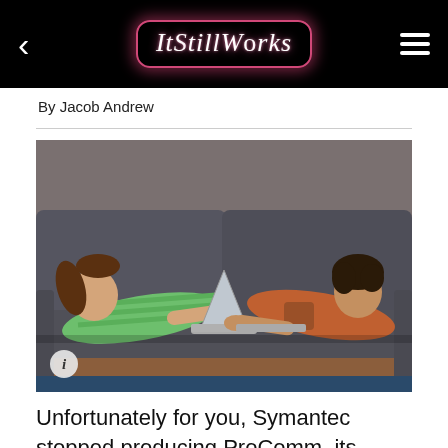ItStillWorks
By Jacob Andrew
[Figure (photo): Two teenagers lying on a gray sofa facing each other, each using a laptop computer. The laptops face each other. Boy on right wearing orange hoodie, girl on left wearing green striped shirt. Wooden sofa frame visible.]
Unfortunately for you, Symantec stopped producing ProComm, its flagship terminal